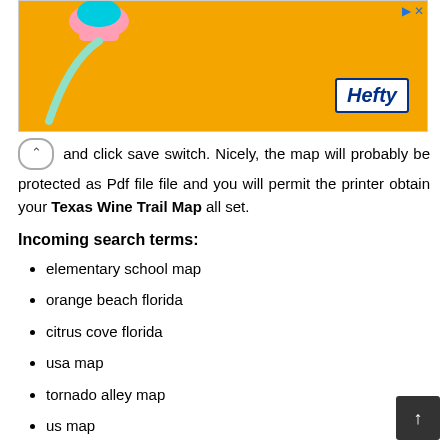[Figure (screenshot): Orange Hefty advertisement banner with product image and logo]
and click save switch. Nicely, the map will probably be protected as Pdf file file and you will permit the printer obtain your Texas Wine Trail Map all set.
Incoming search terms:
elementary school map
orange beach florida
citrus cove florida
usa map
tornado alley map
us map
sarasota florida map
map of africa
florida east coast map